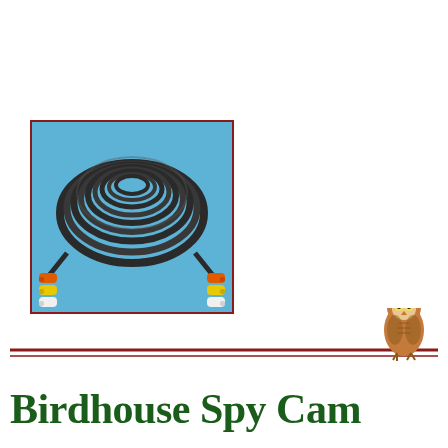[Figure (photo): A coiled black RCA cable with orange, yellow, and white connectors on both ends, photographed on a blue background]
[Figure (logo): Birdhouse Spy Cam logo with an owl illustration and two horizontal red lines above the green serif text]